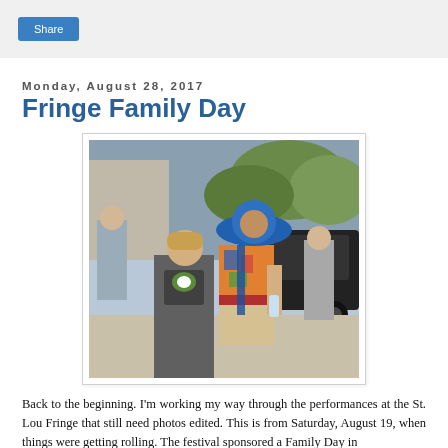Share
Monday, August 28, 2017
Fringe Family Day
[Figure (photo): Outdoor photo of a young boy in a grey graphic t-shirt walking, with a woman behind him wearing a large blue sun hat and colorful patterned top, at what appears to be a street festival. A dark SUV is visible in the background.]
Back to the beginning. I'm working my way through the performances at the St. Lou Fringe that still need photos edited. This is from Saturday, August 19, when things were getting rolling. The festival sponsored a Family Day in